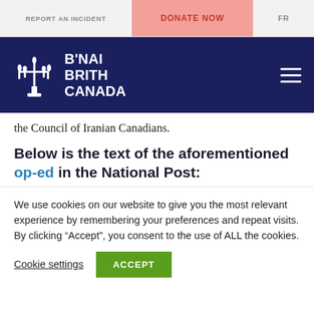REPORT AN INCIDENT | DONATE NOW | FR
[Figure (logo): B'Nai Brith Canada logo with menorah icon and text on dark navy background, hamburger menu icon on right]
the Council of Iranian Canadians.
Below is the text of the aforementioned op-ed in the National Post:
We use cookies on our website to give you the most relevant experience by remembering your preferences and repeat visits. By clicking “Accept”, you consent to the use of ALL the cookies.
Cookie settings | ACCEPT